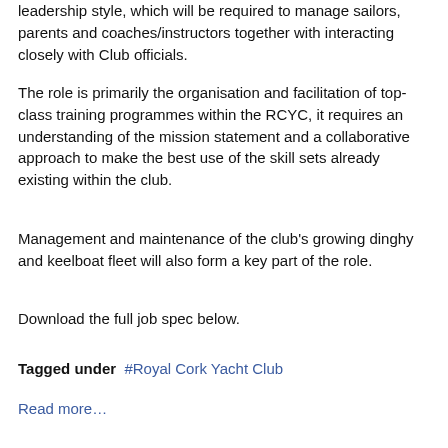leadership style, which will be required to manage sailors, parents and coaches/instructors together with interacting closely with Club officials.
The role is primarily the organisation and facilitation of top-class training programmes within the RCYC, it requires an understanding of the mission statement and a collaborative approach to make the best use of the skill sets already existing within the club.
Management and maintenance of the club's growing dinghy and keelboat fleet will also form a key part of the role.
Download the full job spec below.
Tagged under  #Royal Cork Yacht Club
Read more…